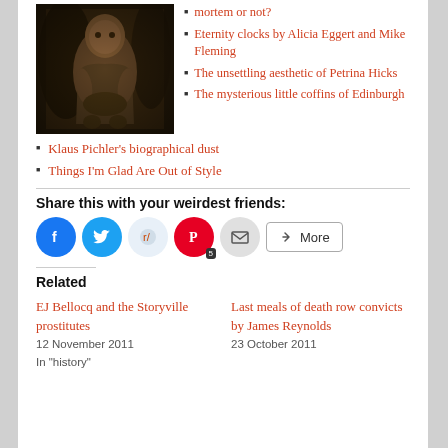[Figure (photo): Sepia-toned vintage photograph of a young child in period clothing, seated]
mortem or not?
Eternity clocks by Alicia Eggert and Mike Fleming
The unsettling aesthetic of Petrina Hicks
The mysterious little coffins of Edinburgh
Klaus Pichler's biographical dust
Things I'm Glad Are Out of Style
Share this with your weirdest friends:
[Figure (infographic): Social share buttons: Facebook, Twitter, Reddit, Pinterest (5), Email, More]
Related
EJ Bellocq and the Storyville prostitutes
12 November 2011
In "history"
Last meals of death row convicts by James Reynolds
23 October 2011